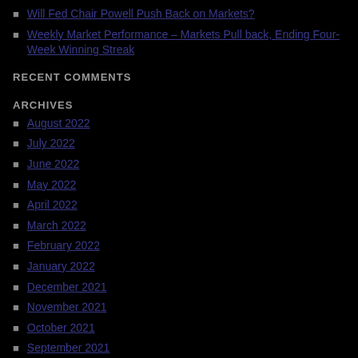Will Fed Chair Powell Push Back on Markets?
Weekly Market Performance – Markets Pull back, Ending Four-Week Winning Streak
RECENT COMMENTS
ARCHIVES
August 2022
July 2022
June 2022
May 2022
April 2022
March 2022
February 2022
January 2022
December 2021
November 2021
October 2021
September 2021
August 2021
July 2021
June 2021
May 2021
April 2021